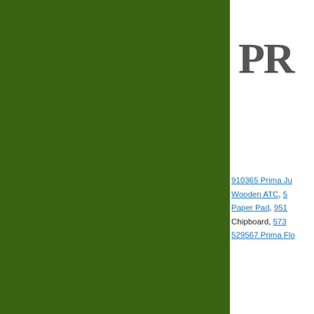[Figure (illustration): Dark green rectangular block occupying the left ~73% of the page]
PR
910365 Prima Ju... Wooden ATC, 5... Paper Pad, 951... Chipboard, 573... 529567 Prima Flo...